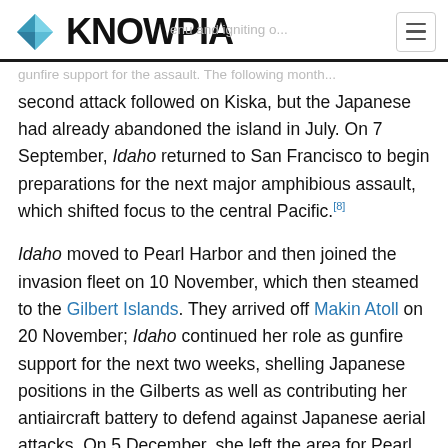KNOWPIA
second attack followed on Kiska, but the Japanese had already abandoned the island in July. On 7 September, Idaho returned to San Francisco to begin preparations for the next major amphibious assault, which shifted focus to the central Pacific.[8]
Idaho moved to Pearl Harbor and then joined the invasion fleet on 10 November, which then steamed to the Gilbert Islands. They arrived off Makin Atoll on 20 November; Idaho continued her role as gunfire support for the next two weeks, shelling Japanese positions in the Gilberts as well as contributing her antiaircraft battery to defend against Japanese aerial attacks. On 5 December, she left the area for Pearl Harbor, where she prepared for the next attack,